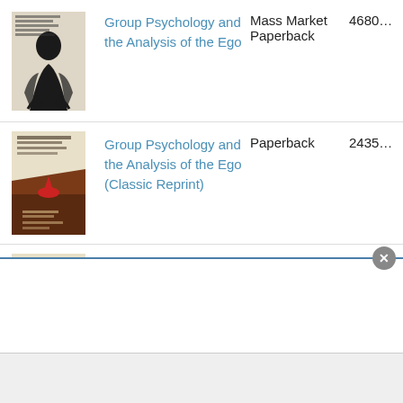| Cover | Title | Format | ID |
| --- | --- | --- | --- |
| [image] | Group Psychology and the Analysis of the Ego | Mass Market Paperback | 4680... |
| [image] | Group Psychology and the Analysis of the Ego (Classic Reprint) | Paperback | 2435... |
| [image] | Group Psychology and the Analysis of the Ego (Classic Reprint) | Paperback | 4239... |
[Figure (screenshot): Partial screenshot of a book listing page showing three editions of Group Psychology and the Analysis of the Ego with book cover thumbnails, format types, and partial ID numbers. A close button and modal overlay are visible at the bottom.]